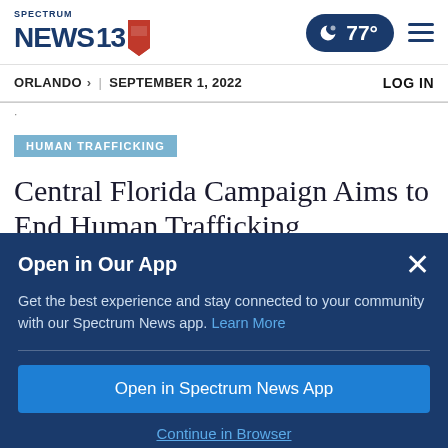[Figure (logo): Spectrum News 13 logo with red, white and blue flag/banner icon]
ORLANDO > | SEPTEMBER 1, 2022   LOG IN
HUMAN TRAFFICKING
Central Florida Campaign Aims to End Human Trafficking
Open in Our App
Get the best experience and stay connected to your community with our Spectrum News app. Learn More
Open in Spectrum News App
Continue in Browser